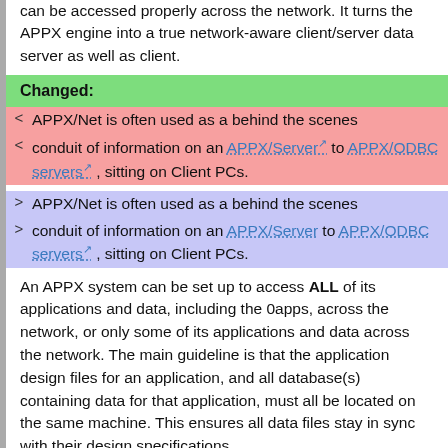can be accessed properly across the network. It turns the APPX engine into a true network-aware client/server data server as well as client.
Changed:
< APPX/Net is often used as a behind the scenes
< conduit of information on an APPX/Server to APPX/ODBC servers , sitting on Client PCs.
> APPX/Net is often used as a behind the scenes
> conduit of information on an APPX/Server to APPX/ODBC servers , sitting on Client PCs.
An APPX system can be set up to access ALL of its applications and data, including the 0apps, across the network, or only some of its applications and data across the network. The main guideline is that the application design files for an application, and all database(s) containing data for that application, must all be located on the same machine. This ensures all data files stay in sync with their design specifications.
Line: 55 to 52